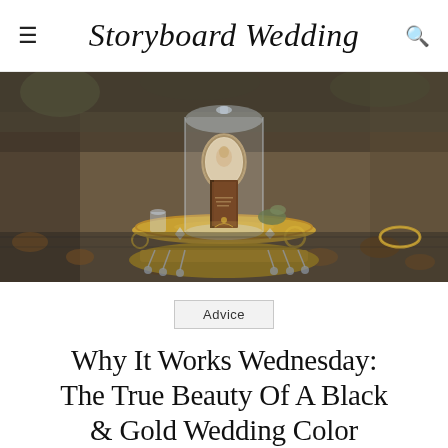Storyboard Wedding
[Figure (photo): A styled flat-lay / tablescape photo featuring a glass cloche dome on a gold ornate tray, with an antique oval portrait, a vintage brown book, jewelry, crystals, and botanical elements arranged on a dark patterned surface with autumn leaves in the background.]
Advice
Why It Works Wednesday: The True Beauty Of A Black & Gold Wedding Color